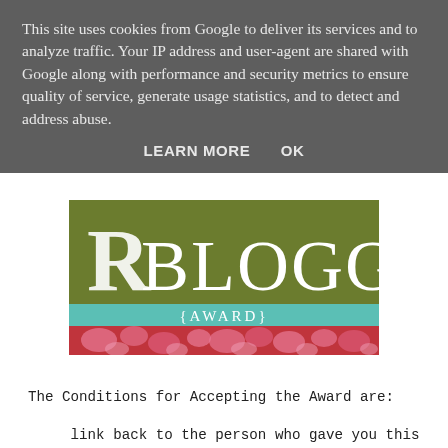This site uses cookies from Google to deliver its services and to analyze traffic. Your IP address and user-agent are shared with Google along with performance and security metrics to ensure quality of service, generate usage statistics, and to detect and address abuse.
LEARN MORE   OK
[Figure (illustration): Blogger Award badge with olive green background showing 'BLOGGER' in large serif letters, a light blue band with '{AWARD}' text, and a decorative red and pink floral damask pattern at the bottom.]
The Conditions for Accepting the Award are:
...